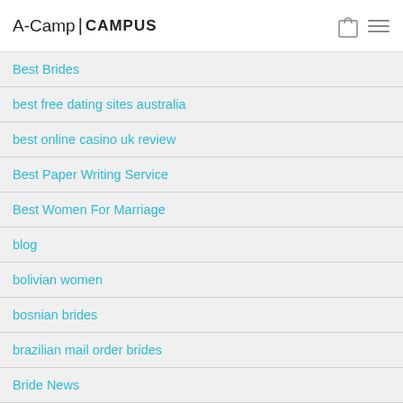A-Camp | CAMPUS
Best Brides
best free dating sites australia
best online casino uk review
Best Paper Writing Service
Best Women For Marriage
blog
bolivian women
bosnian brides
brazilian mail order brides
Bride News
Brides Online
Brides Tips
buy a bride online